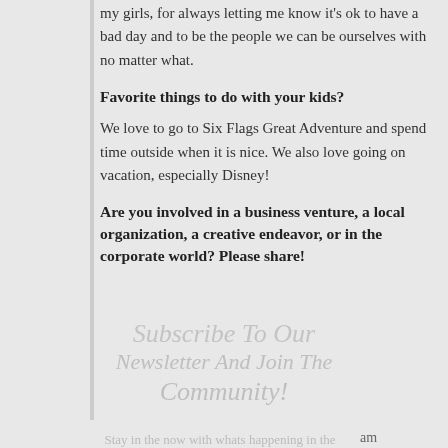my girls, for always letting me know it's ok to have a bad day and to be the people we can be ourselves with no matter what.
Favorite things to do with your kids?
We love to go to Six Flags Great Adventure and spend time outside when it is nice. We also love going on vacation, especially Disney!
Are you involved in a business venture, a local organization, a creative endeavor, or in the corporate world? Please share!
Subscribe To Our Newsletter And Join The Community!
Stay in the now with whats happening in the Ocean County Moms Network with updates on local events, community highlights and exclusive deals and discounts.
am the President of The Mackenzie